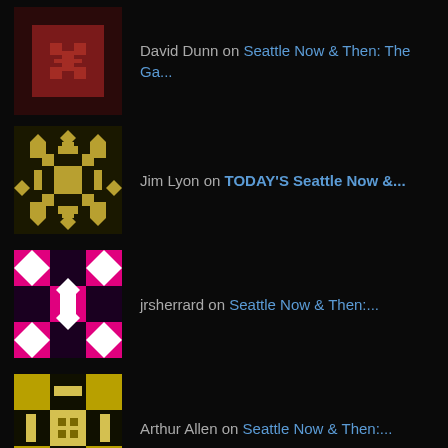David Dunn on Seattle Now & Then: The Ga...
Jim Lyon on TODAY'S Seattle Now &...
jrsherrard on Seattle Now & Then:...
Arthur Allen on Seattle Now & Then:...
Torin Mowbray on Seattle Now & Then: Willo...
ARCHIVES
Select Month